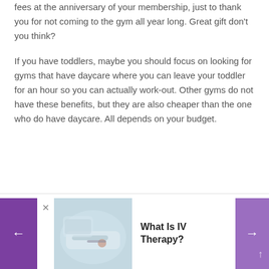fees at the anniversary of your membership, just to thank you for not coming to the gym all year long. Great gift don’t you think?
If you have toddlers, maybe you should focus on looking for gyms that have daycare where you can leave your toddler for an hour so you can actually work-out. Other gyms do not have these benefits, but they are also cheaper than the one who do have daycare. All depends on your budget.
[Figure (screenshot): Navigation bar at the bottom with a purple left arrow button, an X close button, a photo of IV therapy (hands with IV), the title 'What Is IV Therapy?' in bold, and a purple right arrow button with an up arrow.]